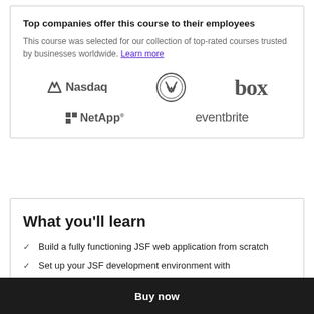Top companies offer this course to their employees
This course was selected for our collection of top-rated courses trusted by businesses worldwide. Learn more
[Figure (logo): Company logos: Nasdaq, Volkswagen (VW), box, NetApp, eventbrite]
What you'll learn
Build a fully functioning JSF web application from scratch
Set up your JSF development environment with
Buy now